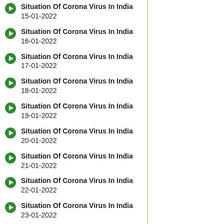Situation Of Corona Virus In India 15-01-2022
Situation Of Corona Virus In India 16-01-2022
Situation Of Corona Virus In India 17-01-2022
Situation Of Corona Virus In India 18-01-2022
Situation Of Corona Virus In India 19-01-2022
Situation Of Corona Virus In India 20-01-2022
Situation Of Corona Virus In India 21-01-2022
Situation Of Corona Virus In India 22-01-2022
Situation Of Corona Virus In India 23-01-2022
Situation Of Corona Virus In India 24-01-2022
Situation Of Corona Virus In India 25-01-2022